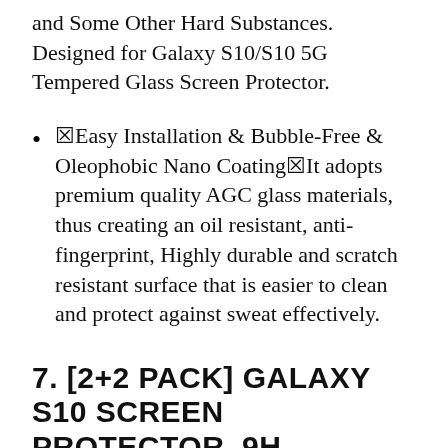and Some Other Hard Substances. Designed for Galaxy S10/S10 5G Tempered Glass Screen Protector.
⬛Easy Installation & Bubble-Free & Oleophobic Nano Coating⬛It adopts premium quality AGC glass materials, thus creating an oil resistant, anti-fingerprint, Highly durable and scratch resistant surface that is easier to clean and protect against sweat effectively.
7. [2+2 PACK] GALAXY S10 SCREEN PROTECTOR, 9H HARDNESS, 3D CURVED, HD CLEAR SCRATCH RESISTANT